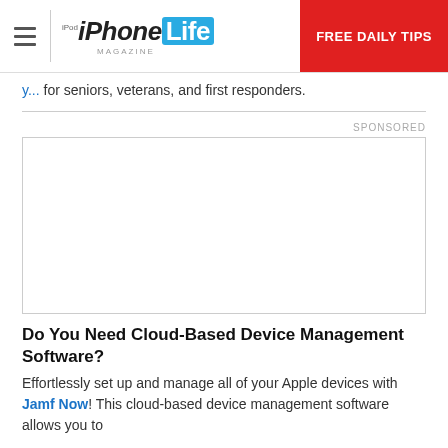iPhone Life Magazine — FREE DAILY TIPS
for seniors, veterans, and first responders.
[Figure (other): Advertisement placeholder box (sponsored content, blank white rectangle with border)]
Do You Need Cloud-Based Device Management Software?
Effortlessly set up and manage all of your Apple devices with Jamf Now! This cloud-based device management software allows you to